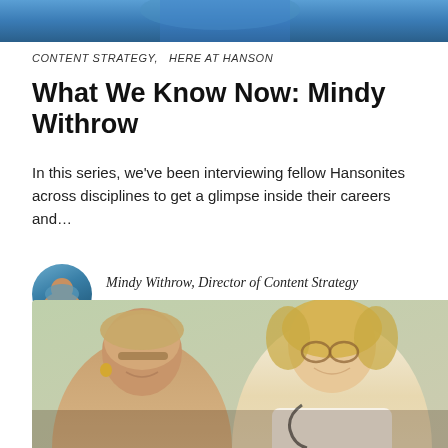[Figure (photo): Top banner photo showing a person in blue clothing, cropped to a horizontal strip]
CONTENT STRATEGY,   HERE AT HANSON
What We Know Now: Mindy Withrow
In this series, we've been interviewing fellow Hansonites across disciplines to get a glimpse inside their careers and…
Mindy Withrow, Director of Content Strategy
Sally Stearns, Marketing Manager
[Figure (photo): Photo of two women, likely a doctor/caregiver with stethoscope and an older patient, both smiling, looking down at something together]